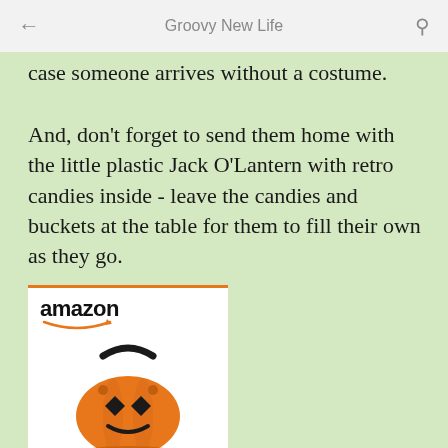Groovy New Life
case someone arrives without a costume.
And, don't forget to send them home with the little plastic Jack O'Lantern with retro candies inside - leave the candies and buckets at the table for them to fill their own as they go.
[Figure (screenshot): Amazon product widget showing a Halloween Jack O'Lantern trick-or-treat bucket. Features the Amazon logo with orange arrow and a partial image of an orange pumpkin-shaped candy bucket with black handle.]